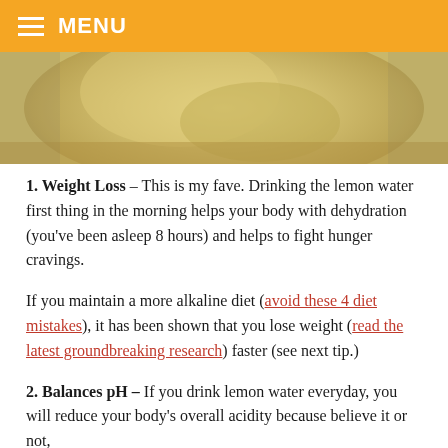≡ MENU
[Figure (photo): Close-up photo of a lemon or light yellow food in a bowl, warm tones, soft focus]
1. Weight Loss – This is my fave. Drinking the lemon water first thing in the morning helps your body with dehydration (you've been asleep 8 hours) and helps to fight hunger cravings.
If you maintain a more alkaline diet (avoid these 4 diet mistakes), it has been shown that you lose weight (read the latest groundbreaking research) faster (see next tip.)
2. Balances pH – If you drink lemon water everyday, you will reduce your body's overall acidity because believe it or not, lemon is one of the most alkaline foods on the planet. For...